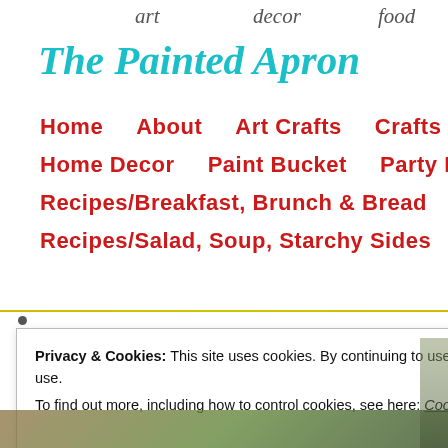[Figure (logo): The Painted Apron website header with script text 'art decor food' and italic teal logo text]
Home   About   Art Crafts   Crafts and Creations   Home Decor   Paint Bucket   Party Panache   Pr...   Recipes/Breakfast, Brunch & Bread   Recipes/Cro...   Recipes/Salad, Soup, Starchy Sides   Recipes/Veg...
Privacy & Cookies: This site uses cookies. By continuing to use this website, you agree to their use.
To find out more, including how to control cookies, see here: Cookie Policy
Close and accept